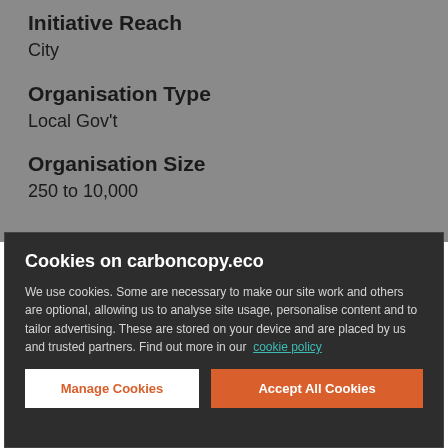Initiative Reach
City
Organisation Type
Local Gov't
Organisation Size
250 to 10,000
Cookies on carboncopy.eco
We use cookies. Some are necessary to make our site work and others are optional, allowing us to analyse site usage, personalise content and to tailor advertising. These are stored on your device and are placed by us and trusted partners. Find out more in our cookie policy
Manage Cookies
Accept All Cookies